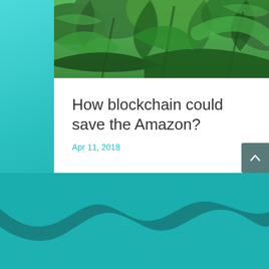[Figure (photo): Jungle/rainforest foliage — dense green tropical plants and leaves viewed from below]
How blockchain could save the Amazon?
Apr 11, 2018
[Figure (illustration): Decorative wave pattern at the bottom of the page in teal/dark teal colors forming a rolling wave silhouette]